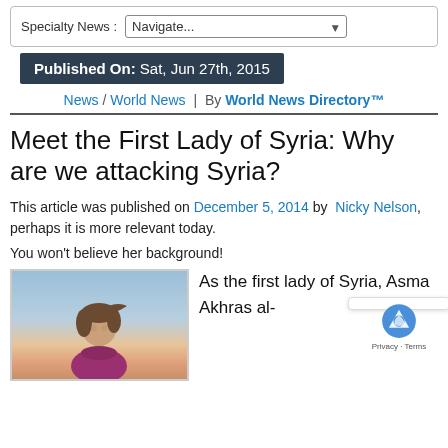Specialty News : Navigate...
Published On: Sat, Jun 27th, 2015
News / World News | By World News Directory™
Meet the First Lady of Syria: Why are we attacking Syria?
This article was published on December 5, 2014 by Nicky Nelson, perhaps it is more relevant today.
You won't believe her background!
[Figure (photo): Photo of a woman (Asma Akhras al-Assad, First Lady of Syria) against a sunset sky background]
As the first lady of Syria, Asma Akhras al-